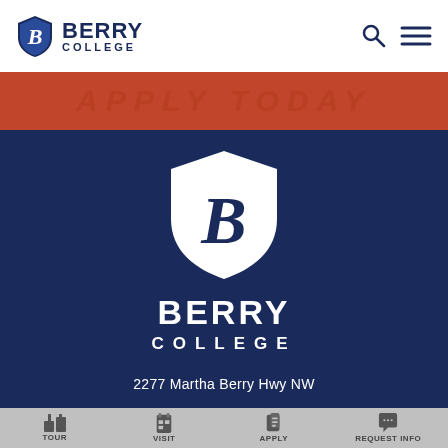[Figure (logo): Berry College logo with shield icon and text in header]
[Figure (screenshot): Red/orange banner with partially obscured text]
[Figure (logo): Berry College large white logo with shield on dark navy background]
2277 Martha Berry Hwy NW
[Figure (infographic): Bottom navigation bar with Tour, Visit, Apply, Request Info icons on gray background]